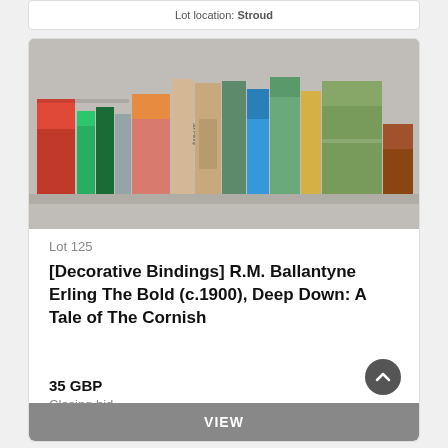Lot location: Stroud
[Figure (photo): A row of antique decorative books with colourful spines standing upright on a shelf, photographed against a grey background.]
Lot 125
[Decorative Bindings] R.M. Ballantyne Erling The Bold (c.1900), Deep Down: A Tale of The Cornish
35 GBP
Closing bid
VIEW